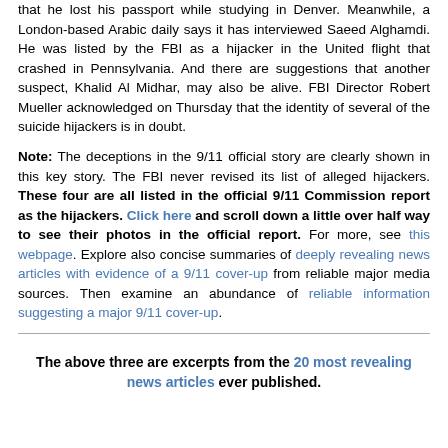that he lost his passport while studying in Denver. Meanwhile, a London-based Arabic daily says it has interviewed Saeed Alghamdi. He was listed by the FBI as a hijacker in the United flight that crashed in Pennsylvania. And there are suggestions that another suspect, Khalid Al Midhar, may also be alive. FBI Director Robert Mueller acknowledged on Thursday that the identity of several of the suicide hijackers is in doubt.
Note: The deceptions in the 9/11 official story are clearly shown in this key story. The FBI never revised its list of alleged hijackers. These four are all listed in the official 9/11 Commission report as the hijackers. Click here and scroll down a little over half way to see their photos in the official report. For more, see this webpage. Explore also concise summaries of deeply revealing news articles with evidence of a 9/11 cover-up from reliable major media sources. Then examine an abundance of reliable information suggesting a major 9/11 cover-up.
The above three are excerpts from the 20 most revealing news articles ever published.